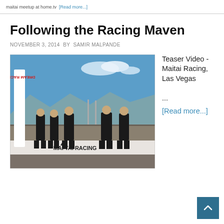...maitai meetup at home.tv [Read more...]
Following the Racing Maven
NOVEMBER 3, 2014 BY SAMIR MALPANDE
[Figure (photo): Five people in black racing suits standing in front of a 'MAI TAI RACING' banner at a racetrack. A 'Dream Racing' banner is visible on the left. Blue sky and mountains in background.]
Teaser Video - Maitai Racing, Las Vegas

...
[Read more...]